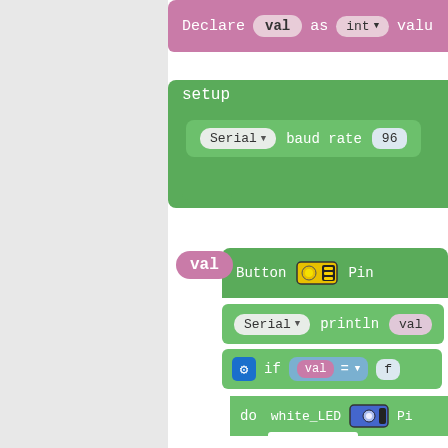[Figure (screenshot): Block-based programming environment showing: (1) A pink 'Declare val as int' block at the top. (2) A green 'setup' block with Serial baud rate 96 inner block. (3) A loop section with val (pink) reading Button Pin sensor, Serial println val, an if block with val = f condition, a do block with white_LED Pin LED sensor, and an else block at bottom.]